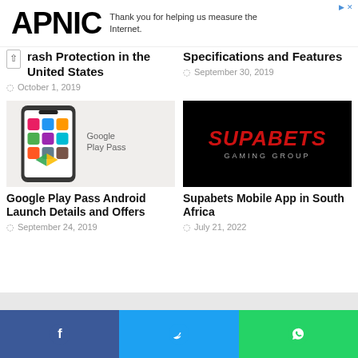[Figure (logo): APNIC logo in large bold black text]
Thank you for helping us measure the Internet.
rash Protection in the United States
October 1, 2019
Specifications and Features
September 30, 2019
[Figure (photo): Google Play Pass promotional image showing a smartphone with colorful app icons and Google Play Pass text]
[Figure (logo): Supabets Gaming Group logo in red text on black background]
Google Play Pass Android Launch Details and Offers
September 24, 2019
Supabets Mobile App in South Africa
July 21, 2022